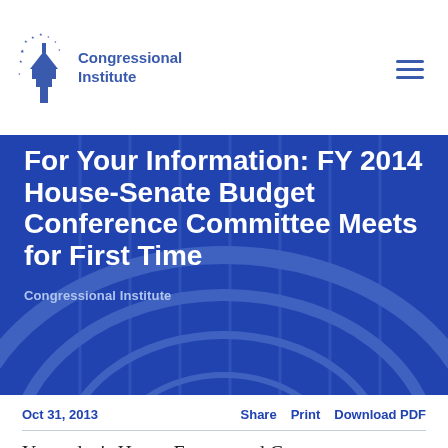Congressional Institute
For Your Information: FY 2014 House-Senate Budget Conference Committee Meets for First Time
Congressional Institute
Oct 31, 2013
Share  Print  Download PDF
Yesterday's House Energy and Commerce Committee hearing on Obamacare was the top